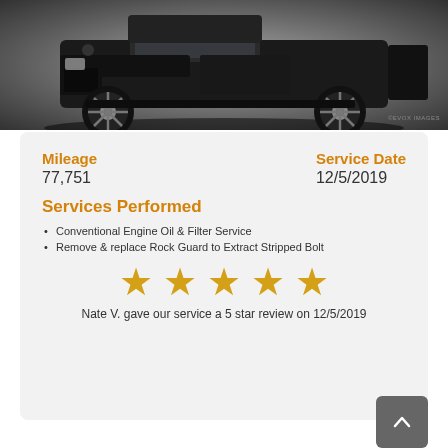[Figure (photo): Front view of a black Jeep Wrangler / SUV vehicle photographed from a low angle against a white/grey background, showing the front bumper, tires, and undercarriage.]
©EVOX IMAGES
Mileage
77,751
Service Date
12/5/2019
Services Performed
Conventional Engine Oil & Filter Service
Remove & replace Rock Guard to Extract Stripped Bolt
[Figure (infographic): Five gold/orange star rating icons displayed in a row.]
Nate V. gave our service a 5 star review on 12/5/2019